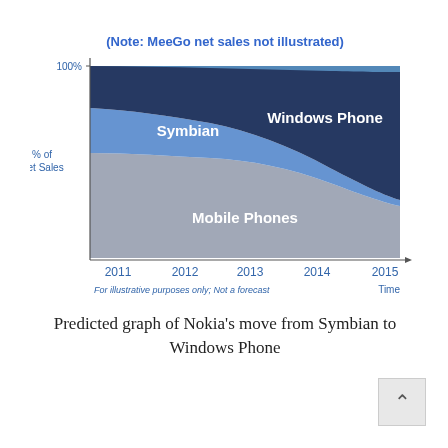[Figure (area-chart): Stacked area chart showing predicted shift from Symbian to Windows Phone and Mobile Phones from 2011 to 2015. Note says MeeGo net sales not illustrated. For illustrative purposes only; Not a forecast.]
Predicted graph of Nokia's move from Symbian to Windows Phone